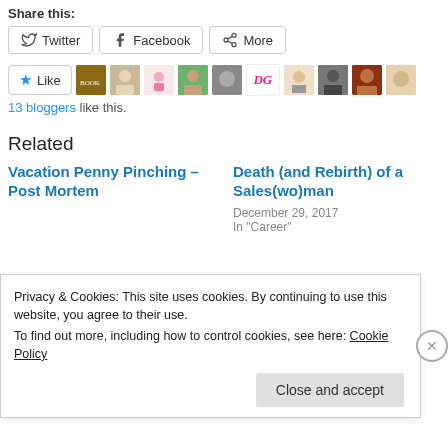Share this:
Twitter  Facebook  More
[Figure (other): Like button with star icon and 9 blogger avatar thumbnails in a row]
13 bloggers like this.
Related
Vacation Penny Pinching – Post Mortem
Death (and Rebirth) of a Sales(wo)man
December 29, 2017
In "Career"